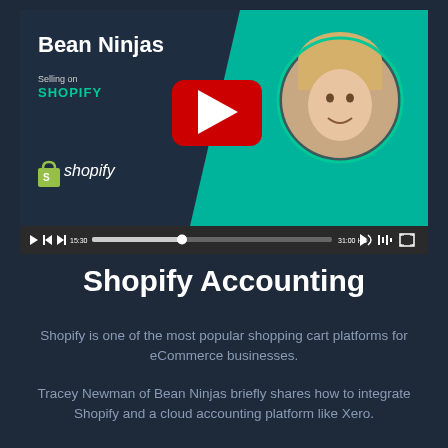[Figure (screenshot): YouTube video thumbnail showing Bean Ninjas brand with Shopify theme. Left dark panel shows 'Bean Ninjas' logo text, 'Selling on SHOPIFY' label, and Shopify bag icon with 'shopify' wordmark. Right teal panel shows a circular portrait of a blonde woman smiling. Red YouTube play button in center. Video player controls bar below with progress at ~38%, timestamp 15:30 shown, total 31:00 HD.]
Shopify Accounting
Shopify is one of the most popular shopping cart platforms for eCommerce businesses.
Tracey Newman of Bean Ninjas briefly shares how to integrate Shopify and a cloud accounting platform like Xero.